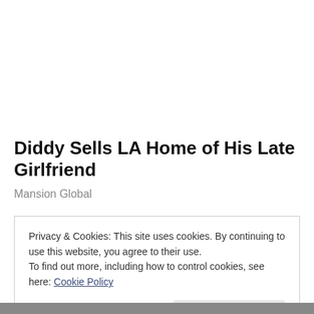Diddy Sells LA Home of His Late Girlfriend
Mansion Global
Privacy & Cookies: This site uses cookies. By continuing to use this website, you agree to their use.
To find out more, including how to control cookies, see here: Cookie Policy
Close and accept